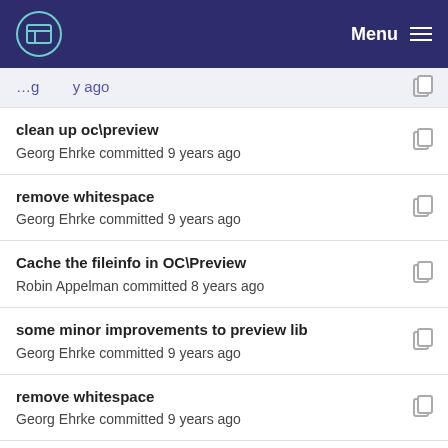Menu
clean up oc\preview
Georg Ehrke committed 9 years ago
remove whitespace
Georg Ehrke committed 9 years ago
Cache the fileinfo in OC\Preview
Robin Appelman committed 8 years ago
some minor improvements to preview lib
Georg Ehrke committed 9 years ago
remove whitespace
Georg Ehrke committed 9 years ago
adding unit test for cache mechanism
Thomas Müller committed 8 years ago
implement OC_Preview
Georg Ehrke committed 9 years ago